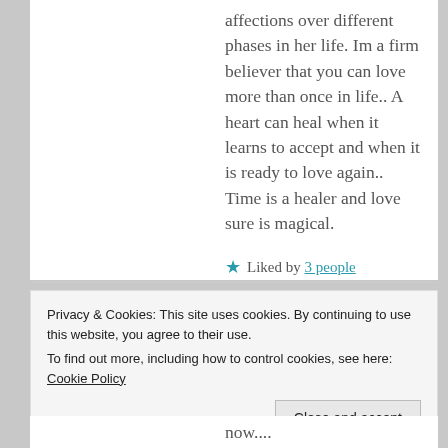affections over different phases in her life. Im a firm believer that you can love more than once in life.. A heart can heal when it learns to accept and when it is ready to love again.. Time is a healer and love sure is magical.
★ Liked by 3 people
Reply
Privacy & Cookies: This site uses cookies. By continuing to use this website, you agree to their use. To find out more, including how to control cookies, see here: Cookie Policy
Close and accept
now....